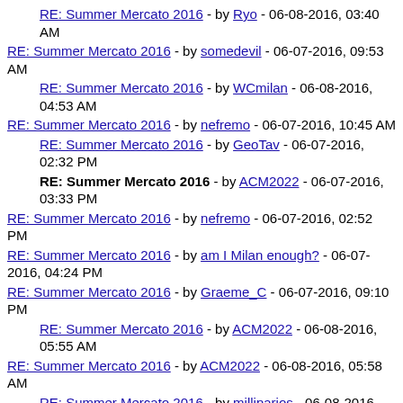RE: Summer Mercato 2016 - by Ryo - 06-08-2016, 03:40 AM
RE: Summer Mercato 2016 - by somedevil - 06-07-2016, 09:53 AM
RE: Summer Mercato 2016 - by WCmilan - 06-08-2016, 04:53 AM
RE: Summer Mercato 2016 - by nefremo - 06-07-2016, 10:45 AM
RE: Summer Mercato 2016 - by GeoTav - 06-07-2016, 02:32 PM
RE: Summer Mercato 2016 - by ACM2022 - 06-07-2016, 03:33 PM
RE: Summer Mercato 2016 - by nefremo - 06-07-2016, 02:52 PM
RE: Summer Mercato 2016 - by am I Milan enough? - 06-07-2016, 04:24 PM
RE: Summer Mercato 2016 - by Graeme_C - 06-07-2016, 09:10 PM
RE: Summer Mercato 2016 - by ACM2022 - 06-08-2016, 05:55 AM
RE: Summer Mercato 2016 - by ACM2022 - 06-08-2016, 05:58 AM
RE: Summer Mercato 2016 - by millinarios - 06-08-2016, 07:13 AM
RE: Summer Mercato 2016 - by porcho - 06-08-2016, 06:55